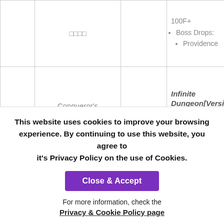| # | Name | Stats | Location |
| --- | --- | --- | --- |
|  | □□□□ |  | 100F+
Boss Drops:
  Providence |
| 12 | Conqueror's Regunera | 1883 | Infinite Dungeon[Version2.00]
Low chance drop from Enigma chests & bo... |
This website uses cookies to improve your browsing experience. By continuing to use this website, you agree to it's Privacy Policy on the use of Cookies.
Close & Accept
For more information, check the
Privacy & Cookie Policy page